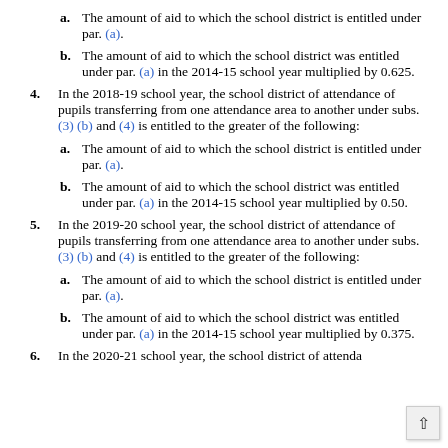a. The amount of aid to which the school district is entitled under par. (a).
b. The amount of aid to which the school district was entitled under par. (a) in the 2014-15 school year multiplied by 0.625.
4. In the 2018-19 school year, the school district of attendance of pupils transferring from one attendance area to another under subs. (3) (b) and (4) is entitled to the greater of the following:
a. The amount of aid to which the school district is entitled under par. (a).
b. The amount of aid to which the school district was entitled under par. (a) in the 2014-15 school year multiplied by 0.50.
5. In the 2019-20 school year, the school district of attendance of pupils transferring from one attendance area to another under subs. (3) (b) and (4) is entitled to the greater of the following:
a. The amount of aid to which the school district is entitled under par. (a).
b. The amount of aid to which the school district was entitled under par. (a) in the 2014-15 school year multiplied by 0.375.
6. In the 2020-21 school year, the school district of attenda...